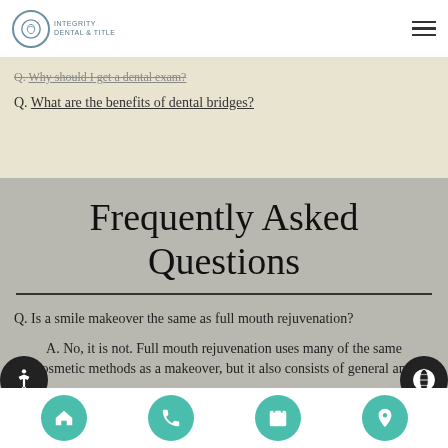Integrity Dental - Navigation header with logo and hamburger menu
Q. Why should I get a dental exam?
Q. What are the benefits of dental bridges?
Frequently Asked Questions
Q. Is a smile makeover the same as full mouth rejuvenation?
A. No, it is not. Full mouth rejuvenation uses many of the same cosmetic methods as a makeover, but it also consists of general and...
Bottom navigation bar with home, phone, calendar, location buttons